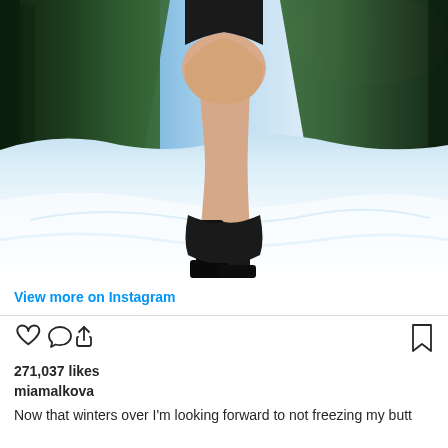[Figure (photo): Person standing in snow wearing black boots, photographed from behind, with evergreen trees and blue sky in background]
View more on Instagram
271,037 likes
miamalkova
Now that winters over I'm looking forward to not freezing my butt